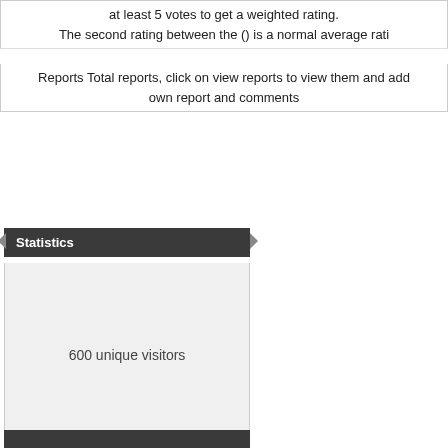at least 5 votes to get a weighted rating. The second rating between the () is a normal average rati
Reports Total reports, click on view reports to view them and add own report and comments
Statistics
600 unique visitors